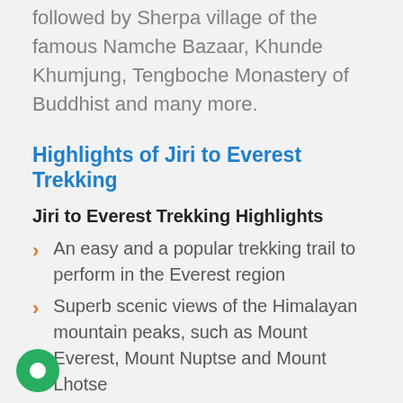trek allows you to get glimpses of culture followed by Sherpa village of the famous Namche Bazaar, Khunde Khumjung, Tengboche Monastery of Buddhist and many more.
Highlights of Jiri to Everest Trekking
Jiri to Everest Trekking Highlights
An easy and a popular trekking trail to perform in the Everest region
Superb scenic views of the Himalayan mountain peaks, such as Mount Everest, Mount Nuptse and Mount Lhotse
Scope to pass through Gokyo Ri Chola mountain pass, a long trek route